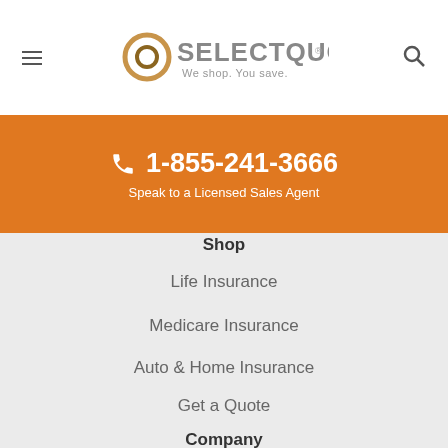[Figure (logo): SelectQuote logo with ring icon and tagline 'We shop. You save.']
📞 1-855-241-3666
Speak to a Licensed Sales Agent
Shop
Life Insurance
Medicare Insurance
Auto & Home Insurance
Get a Quote
Company